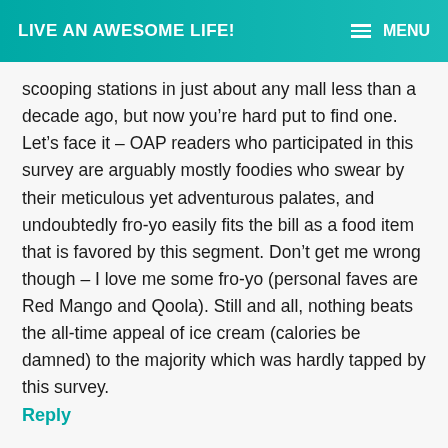LIVE AN AWESOME LIFE! MENU
scooping stations in just about any mall less than a decade ago, but now you’re hard put to find one. Let’s face it – OAP readers who participated in this survey are arguably mostly foodies who swear by their meticulous yet adventurous palates, and undoubtedly fro-yo easily fits the bill as a food item that is favored by this segment. Don’t get me wrong though – I love me some fro-yo (personal faves are Red Mango and Qoola). Still and all, nothing beats the all-time appeal of ice cream (calories be damned) to the majority which was hardly tapped by this survey.
Reply